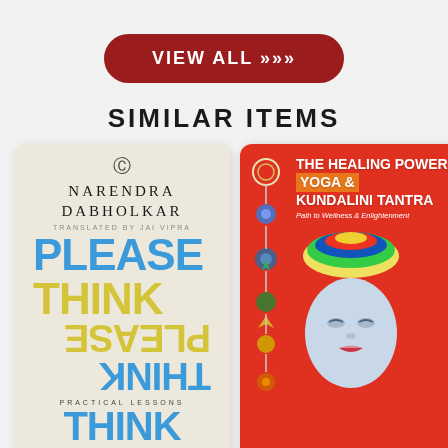[Figure (illustration): Red rounded rectangle button with white bold text 'VIEW ALL >>>' on grey background]
SIMILAR ITEMS
[Figure (photo): Book cover: Please Think by Narendra Dabholkar, translated by Jai Vipra. Cream/off-white background with large blue and yellow bold text 'PLEASE THINK' and mirrored/flipped versions below. Subtitle: Practical Lessons.]
[Figure (photo): Book cover: The Healing Power of Yoga & Kundalini Tantra - Path to Wellness & Enlightenment. Red background with chakra symbols on left side and illustration of a buddha/meditating face with colorful crown.]